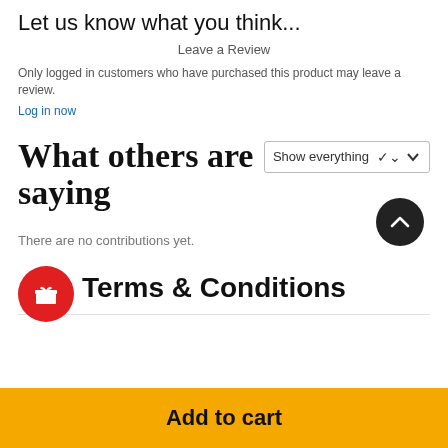Let us know what you think...
Leave a Review
Only logged in customers who have purchased this product may leave a review.
Log in now
What others are saying
[Figure (other): Show everything dropdown selector]
There are no contributions yet.
[Figure (other): Red circular gift/reward icon button]
Terms & Conditions
[Figure (other): Dark circular scroll-to-top arrow button]
Add to cart